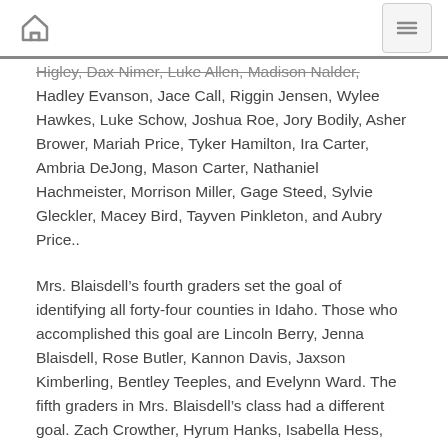[home icon] [menu icon]
Higley, Dax Nimer, Luke Allen, Madison Nalder, Hadley Evanson, Jace Call, Riggin Jensen, Wylee Hawkes, Luke Schow, Joshua Roe, Jory Bodily, Asher Brower, Mariah Price, Tyker Hamilton, Ira Carter, Ambria DeJong, Mason Carter, Nathaniel Hachmeister, Morrison Miller, Gage Steed, Sylvie Gleckler, Macey Bird, Tayven Pinkleton, and Aubry Price..
Mrs. Blaisdell’s fourth graders set the goal of identifying all forty-four counties in Idaho. Those who accomplished this goal are Lincoln Berry, Jenna Blaisdell, Rose Butler, Kannon Davis, Jaxson Kimberling, Bentley Teeples, and Evelynn Ward. The fifth graders in Mrs. Blaisdell’s class had a different goal. Zach Crowther, Hyrum Hanks, Isabella Hess, Andrew Pickett, Grayson Thomas, Sophia Ward, and